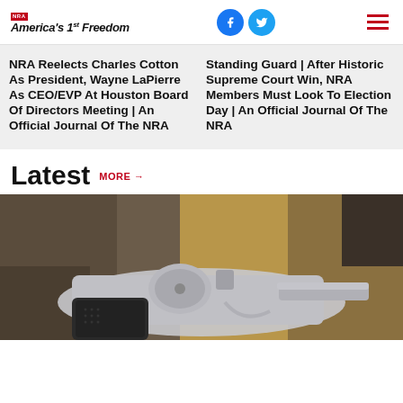NRA America's 1st Freedom
NRA Reelects Charles Cotton As President, Wayne LaPierre As CEO/EVP At Houston Board Of Directors Meeting | An Official Journal Of The NRA
Standing Guard | After Historic Supreme Court Win, NRA Members Must Look To Election Day | An Official Journal Of The NRA
Latest
MORE →
[Figure (photo): Close-up photograph of a silver/stainless steel revolver handgun resting on rocks outdoors]